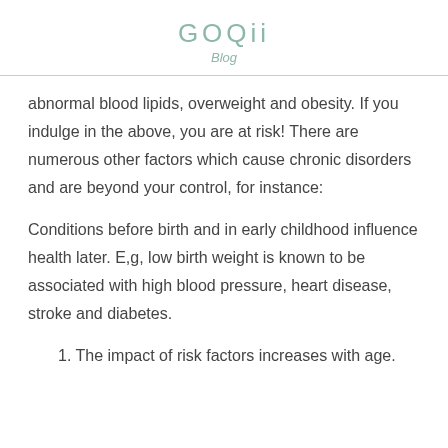GOQii
Blog
abnormal blood lipids, overweight and obesity. If you indulge in the above, you are at risk! There are numerous other factors which cause chronic disorders and are beyond your control, for instance:
Conditions before birth and in early childhood influence health later. E,g, low birth weight is known to be associated with high blood pressure, heart disease, stroke and diabetes.
1. The impact of risk factors increases with age.